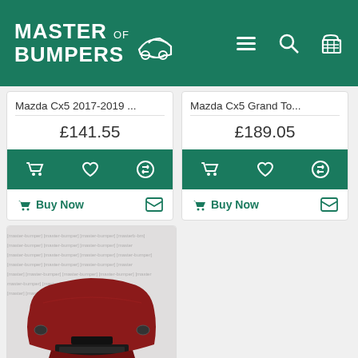Master of Bumpers
Mazda Cx5 2017-2019 ...
£141.55
Buy Now
Mazda Cx5 Grand To...
£189.05
Buy Now
[Figure (photo): Red Mazda CX5 front bumper on white branded background]
Mazda